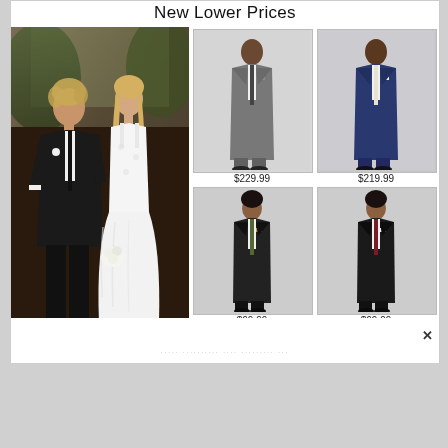New Lower Prices
[Figure (photo): Couple at outdoor wedding: man in dark black suit with tie, woman in white lace dress holding flowers]
[Figure (photo): Man in gray suit, full length product photo]
$229.99
[Figure (photo): Man in navy blue suit, full length product photo]
$219.99
[Figure (photo): Boy in dark/black suit, full length product photo]
$69.99
[Figure (photo): Boy in black suit with burgundy tie, full length product photo]
$69.99
····· ·········· ···· ········· ···